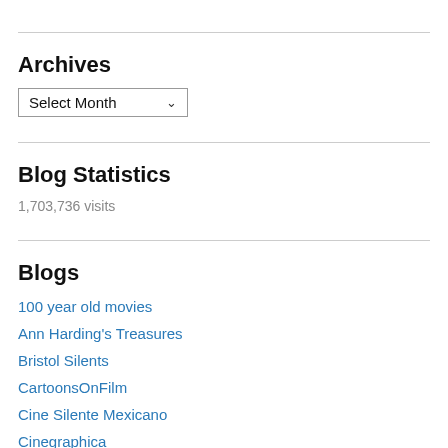Archives
Select Month
Blog Statistics
1,703,736 visits
Blogs
100 year old movies
Ann Harding's Treasures
Bristol Silents
CartoonsOnFilm
Cine Silente Mexicano
Cinegraphica